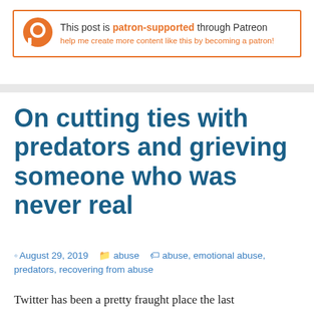[Figure (other): Patreon banner with orange P logo and text: This post is patron-supported through Patreon, help me create more content like this by becoming a patron!]
On cutting ties with predators and grieving someone who was never real
August 29, 2019  abuse  abuse, emotional abuse, predators, recovering from abuse
Twitter has been a pretty fraught place the last